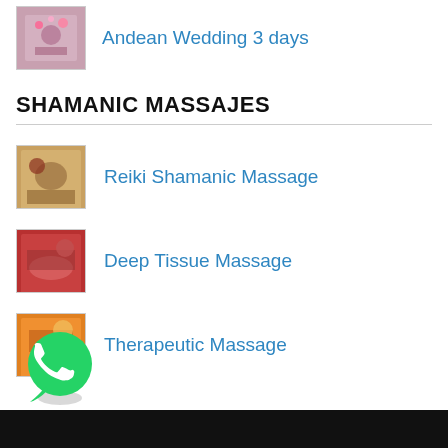[Figure (photo): Small thumbnail image showing Andean Wedding scene with colorful decorations]
Andean Wedding 3 days
SHAMANIC MASSAJES
[Figure (photo): Small thumbnail image of a Reiki Shamanic Massage session]
Reiki Shamanic Massage
[Figure (photo): Small thumbnail image of a Deep Tissue Massage session]
Deep Tissue Massage
[Figure (photo): Small thumbnail image of a Therapeutic Massage session]
Therapeutic Massage
[Figure (logo): WhatsApp green phone icon]